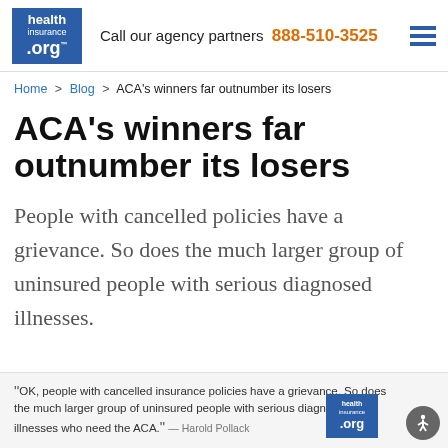healthinsurance.org — Call our agency partners 888-510-3525
Home > Blog > ACA's winners far outnumber its losers
ACA's winners far outnumber its losers
People with cancelled policies have a grievance. So does the much larger group of uninsured people with serious diagnosed illnesses.
"OK, people with cancelled insurance policies have a grievance. So does the much larger group of uninsured people with serious diagnosed illnesses who need the ACA." — Harold Pollack